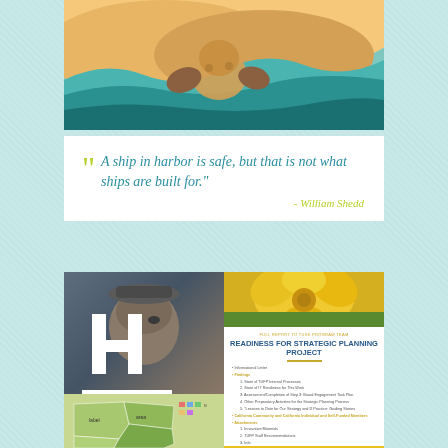[Figure (illustration): Illustrated image of a person holding a baby, with flowing blue and green waves in the background, warm skin tones]
““ A ship in harbor is safe, but that is not what ships are built for.” - William Shedd
[Figure (photo): Photo of a young male person wearing a flat cap, with a large white letter H overlaid on the image]
[Figure (photo): Close-up photo of a yellow flower]
[Figure (other): Document cover page titled READINESS FOR STRATEGIC PLANNING PROJECT with table of contents listing items including Purpose, Findings, and Attachments, dated January 9, 2015, with a yellow bottom bar]
[Figure (map): Map showing a geographic area with colored regions and labels]